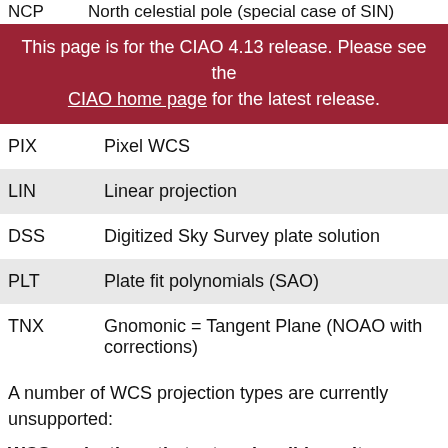NCP    North celestial pole (special case of SIN)
This page is for the CIAO 4.13 release. Please see the CIAO home page for the latest release.
| Code | Description |
| --- | --- |
| PIX | Pixel WCS |
| LIN | Linear projection |
| DSS | Digitized Sky Survey plate solution |
| PLT | Plate fit polynomials (SAO) |
| TNX | Gnomonic = Tangent Plane (NOAO with corrections) |
A number of WCS projection types are currently unsupported:
WCS projections that return invalid results
| Code | Description |
| --- | --- |